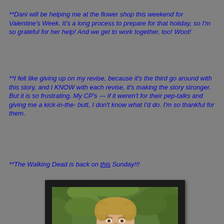**Dani will be helping me at the flower shop this weekend for Valentine's Week. It's a long process to prepare for that holiday, so I'm so grateful for her help! And we get to work together, too! Woot!
**I felt like giving up on my revise, because it's the third go around with this story, and I KNOW with each revise, it's making the story stronger. But it is so frustrating. My CP's --- if it weren't for their pep-talks and giving me a kick-in-the-butt, I don't know what I'd do. I'm so thankful for them.
**The Walking Dead is back on this Sunday!!!
[Figure (photo): A man with short blonde hair holding a crossbow, outdoors with green foliage in the background. Photo is framed with a thick black border.]